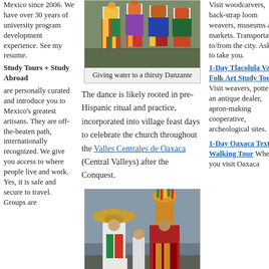Mexico since 2006. We have over 30 years of university program development experience. See my resume.
Study Tours + Study Abroad are personally curated and introduce you to Mexico's greatest artisans. They are off-the-beaten path, internationally recognized. We give you access to where people live and work. Yes, it is safe and secure to travel. Groups are
[Figure (photo): Photo of Danzante dancers in colorful traditional costumes]
Giving water to a thirsty Danzante
The dance is likely rooted in pre-Hispanic ritual and practice, incorporated into village feast days to celebrate the church throughout the Valles Centrales de Oaxaca (Central Valleys) after the Conquest.
[Figure (photo): Photo of two costumed Danzante performers, one wearing a large sombrero]
Visit woodcarvers, back-strap loom weavers, museums and markets. Transportation to/from the city. Ask us to take you.
1-Day Tlacolula Valley Folk Art Study Tour. Visit weavers, potters, an antique dealer, apron-making cooperative, archeological sites.
1-Day Oaxaca Textile Walking Tour When you visit Oaxaca